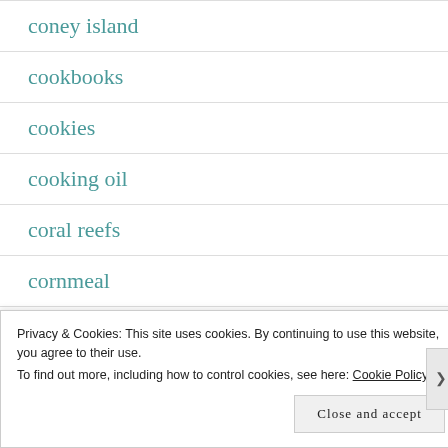coney island
cookbooks
cookies
cooking oil
coral reefs
cornmeal
costumes
Privacy & Cookies: This site uses cookies. By continuing to use this website, you agree to their use.
To find out more, including how to control cookies, see here: Cookie Policy
Close and accept